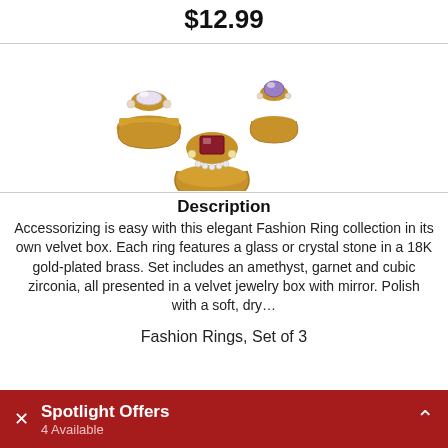$12.99
[Figure (photo): Three gold fashion rings with gemstones: a marquise-cut crystal ring (top left), an amethyst solitaire ring (top right), and a garnet rectangular stone ring with floral setting (bottom center)]
Description
Accessorizing is easy with this elegant Fashion Ring collection in its own velvet box. Each ring features a glass or crystal stone in a 18K gold-plated brass. Set includes an amethyst, garnet and cubic zirconia, all presented in a velvet jewelry box with mirror. Polish with a soft, dry…
Fashion Rings, Set of 3
Spotlight Offers 4 Available